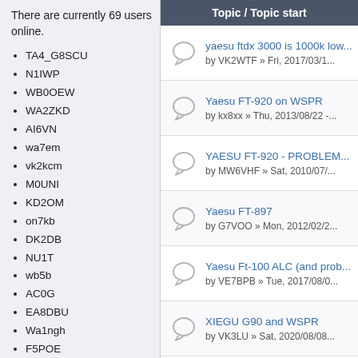There are currently 69 users online.
TA4_G8SCU
N1IWP
WB0OEW
WA2ZKD
AI6VN
wa7em
vk2kcm
M0UNI
KD2OM
on7kb
DK2DB
NU1T
wb5b
AC0G
EA8DBU
Wa1ngh
F5POE
KO4KKX
N3AGE
W2MOQ
N7ZMG
VK2EFM
df1vb
K0RE
| Topic / Topic start |
| --- |
| yaesu ftdx 3000 is 1000k low...
by VK2WTF » Fri, 2017/03/1... |
| Yaesu FT-920 on WSPR
by kx8xx » Thu, 2013/08/22 -... |
| YAESU FT-920 - PROBLEM...
by MW6VHF » Sat, 2010/07/... |
| Yaesu FT-897
by G7VOO » Mon, 2012/02/2... |
| Yaesu Ft-100 ALC (and prob...
by VE7BPB » Tue, 2017/08/0... |
| XIEGU G90 and WSPR
by VK3LU » Sat, 2020/08/08... |
| X1M CAT control for WSPR-X...
by VK5Mr » Sun, 2017/08/13... |